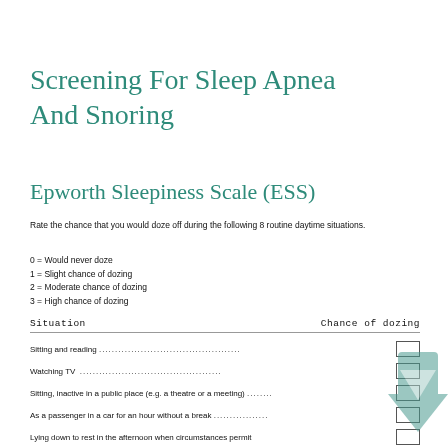Screening For Sleep Apnea And Snoring
Epworth Sleepiness Scale (ESS)
Rate the chance that you would doze off during the following 8 routine daytime situations.
0 = Would never doze
1 = Slight chance of dozing
2 = Moderate chance of dozing
3 = High chance of dozing
| Situation | Chance of dozing |
| --- | --- |
| Sitting and reading .......................................... |  |
| Watching TV .......................................... |  |
| Sitting, inactive in a public place (e.g. a theatre or a meeting) ........ |  |
| As a passenger in a car for an hour without a break ................. |  |
| Lying down to rest in the afternoon when circumstances permit |  |